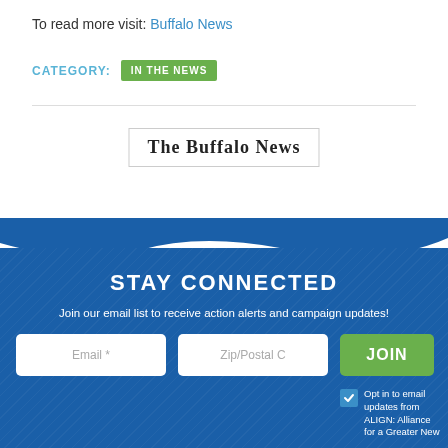To read more visit: Buffalo News
CATEGORY: IN THE NEWS
[Figure (logo): The Buffalo News newspaper logo in serif font inside a bordered box]
STAY CONNECTED
Join our email list to receive action alerts and campaign updates!
Email *
Zip/Postal C
JOIN
Opt in to email updates from ALIGN: Alliance for a Greater New